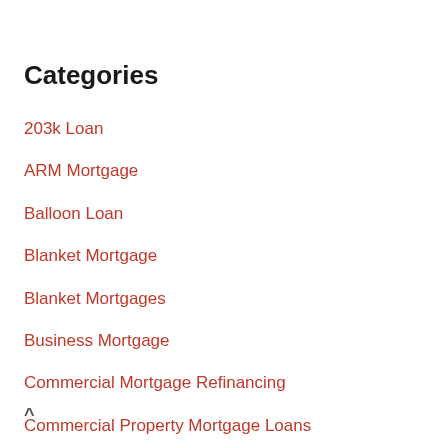Categories
203k Loan
ARM Mortgage
Balloon Loan
Blanket Mortgage
Blanket Mortgages
Business Mortgage
Commercial Mortgage Refinancing
Commercial Property Mortgage Loans
Conforming Home Loan
Conforming Loan
Construction FHA Loan